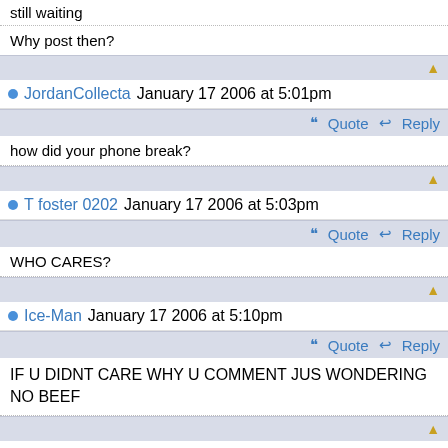still waiting
Why post then?
JordanCollecta January 17 2006 at 5:01pm
how did your phone break?
T foster 0202 January 17 2006 at 5:03pm
WHO CARES?
Ice-Man January 17 2006 at 5:10pm
IF U DIDNT CARE WHY U COMMENT JUS WONDERING NO BEEF
JordanCollecta January 17 2006 at 5:15pm